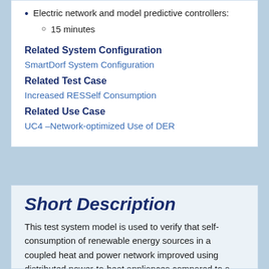Electric network and model predictive controllers: 15 minutes
Related System Configuration
SmartDorf System Configuration
Related Test Case
Increased RESSelf Consumption
Related Use Case
UC4 –Network-optimized Use of DER
Short Description
This test system model is used to verify that self-consumption of renewable energy sources in a coupled heat and power network improved using distributed power-to-heat appliances compared to a base scenario without power-to-heat. This means that energy flows flowing out of the network are reduced. At the same time